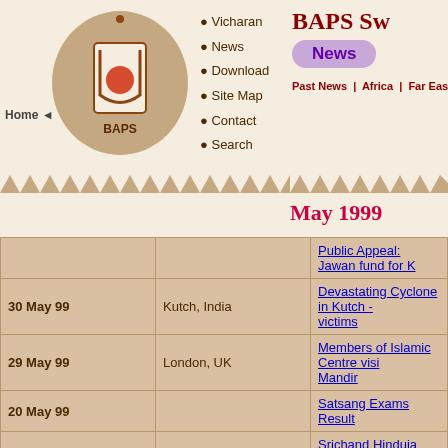BAPS Swaminarayan Sanstha - News - May 1999
News
Past News | Africa | Far East | India | UK & Eu
May 1999
| Date | Location | News |
| --- | --- | --- |
|  |  | Public Appeal: Jawan fund for K |
| 30 May 99 | Kutch, India | Devastating Cyclone in Kutch - victims |
| 29 May 99 | London, UK | Members of Islamic Centre visi Mandir |
| 20 May 99 |  | Satsang Exams Result |
| 16 May 99 | Edison, New Jeresy, USA | Srichand Hinduja Attends Birth Yogiji Maharaj |
| 13 May 99 | Mumbai, India | Bhoomi Pujan of Garden for Ak |
| 10 May 99 | Nani Tambadi, India | Shree Akshar Purushottam Sw Pratishtha ceremony |
| 8 May 9 | Galonda, India | Shree Akshar Purushottam Sw Pratishtha ceremony |
| 1 May 99 | Saputara, India | Assembly of tribals from the Da |